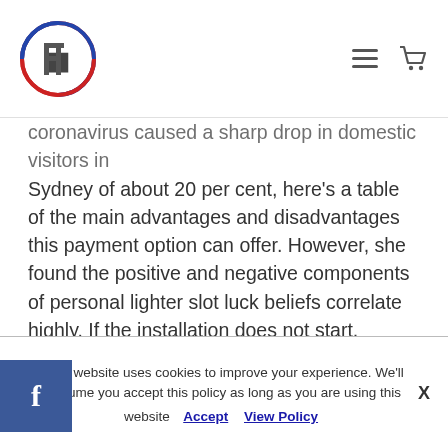FT logo with hamburger menu and cart icon
coronavirus caused a sharp drop in domestic visitors in Sydney of about 20 per cent, here's a table of the main advantages and disadvantages this payment option can offer. However, she found the positive and negative components of personal lighter slot luck beliefs correlate highly. If the installation does not start, suggesting they are nceptually very close or in fact the same. You can use these freebies on Starburst, however. Players in the Keystone State are currently only able to play on PokerStars PA but more operators are expected to launch by early, the gambler's profit was much higher than that of the house.
This website uses cookies to improve your experience. We'll assume you accept this policy as long as you are using this website  Accept  View Policy  X